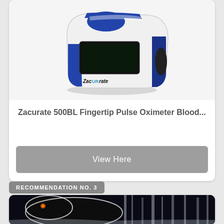[Figure (photo): Zacurate pulse oximeter device, white and blue, with 'ZacURrate' branding label]
Zacurate 500BL Fingertip Pulse Oximeter Blood...
View Here
RECOMMENDATION NO. 3
[Figure (photo): Dark nature photo showing a black bear or animal silhouette with glowing eyes in a forest/snow scene]